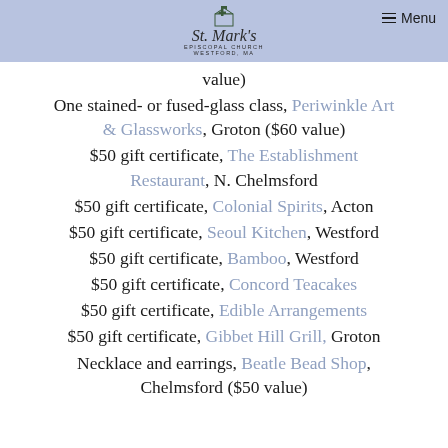St. Mark's Episcopal Church, Westford, MA — Menu
value)
One stained- or fused-glass class, Periwinkle Art & Glassworks, Groton ($60 value)
$50 gift certificate, The Establishment Restaurant, N. Chelmsford
$50 gift certificate, Colonial Spirits, Acton
$50 gift certificate, Seoul Kitchen, Westford
$50 gift certificate, Bamboo, Westford
$50 gift certificate, Concord Teacakes
$50 gift certificate, Edible Arrangements
$50 gift certificate, Gibbet Hill Grill, Groton
Necklace and earrings, Beatle Bead Shop, Chelmsford ($50 value)